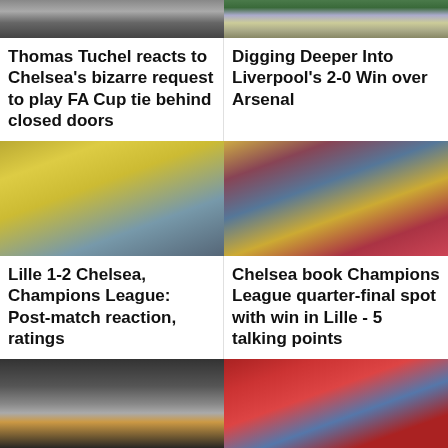[Figure (photo): Photo of Thomas Tuchel, partial top crop]
[Figure (photo): Football match photo, player in yellow kit against green goalkeeper]
Thomas Tuchel reacts to Chelsea's bizarre request to play FA Cup tie behind closed doors
Digging Deeper Into Liverpool's 2-0 Win over Arsenal
[Figure (photo): Chelsea players in yellow kits celebrating, Champions League match vs Lille]
[Figure (photo): Match action shot Lille vs Chelsea, player number 30 in dark kit vs yellow-kitted players]
Lille 1-2 Chelsea, Champions League: Post-match reaction, ratings
Chelsea book Champions League quarter-final spot with win in Lille - 5 talking points
[Figure (photo): Thomas Tuchel in grey hoodie and cap on touchline at night match]
[Figure (photo): Liverpool players in red celebrating, crowd in background]